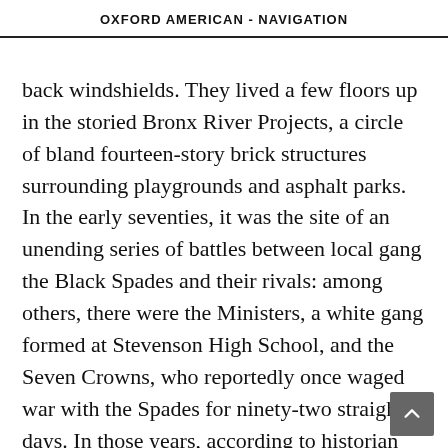OXFORD AMERICAN - NAVIGATION
back windshields. They lived a few floors up in the storied Bronx River Projects, a circle of bland fourteen-story brick structures surrounding playgrounds and asphalt parks. In the early seventies, it was the site of an unending series of battles between local gang the Black Spades and their rivals: among others, there were the Ministers, a white gang formed at Stevenson High School, and the Seven Crowns, who reportedly once waged war with the Spades for ninety-two straight days. In those years, according to historian Steven Hager, the Bronx River Projects